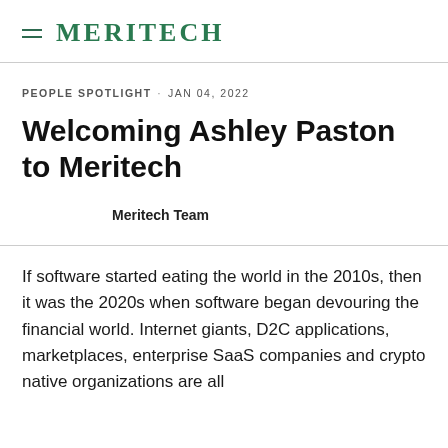MERITECH
PEOPLE SPOTLIGHT · JAN 04, 2022
Welcoming Ashley Paston to Meritech
Meritech Team
If software started eating the world in the 2010s, then it was the 2020s when software began devouring the financial world. Internet giants, D2C applications, marketplaces, enterprise SaaS companies and crypto native organizations are all